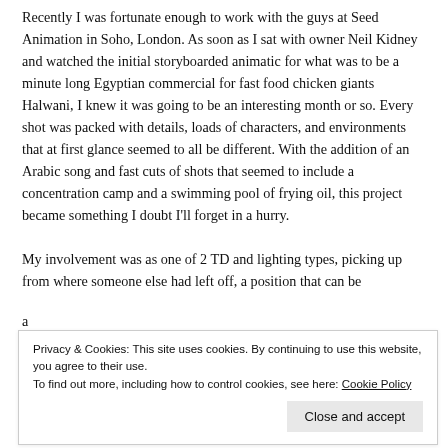Recently I was fortunate enough to work with the guys at Seed Animation in Soho, London. As soon as I sat with owner Neil Kidney and watched the initial storyboarded animatic for what was to be a minute long Egyptian commercial for fast food chicken giants Halwani, I knew it was going to be an interesting month or so. Every shot was packed with details, loads of characters, and environments that at first glance seemed to all be different. With the addition of an Arabic song and fast cuts of shots that seemed to include a concentration camp and a swimming pool of frying oil, this project became something I doubt I'll forget in a hurry.
My involvement was as one of 2 TD and lighting types, picking up from where someone else had left off, a position that can be
Privacy & Cookies: This site uses cookies. By continuing to use this website, you agree to their use. To find out more, including how to control cookies, see here: Cookie Policy
Close and accept
pool of boiling oil.